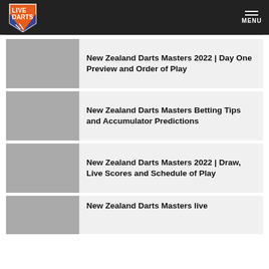LIVE DARTS | MENU
New Zealand Darts Masters 2022 | Day One Preview and Order of Play
New Zealand Darts Masters Betting Tips and Accumulator Predictions
New Zealand Darts Masters 2022 | Draw, Live Scores and Schedule of Play
New Zealand Darts Masters live